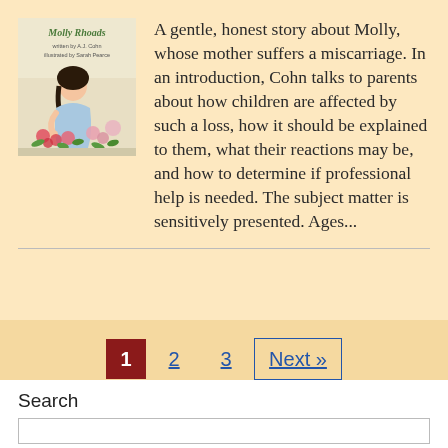[Figure (illustration): Book cover of 'Molly Rhoads' showing a young girl with dark hair looking at flowers/roses, with a light green/cream background. Title in green cursive and author/illustrator names below.]
A gentle, honest story about Molly, whose mother suffers a miscarriage. In an introduction, Cohn talks to parents about how children are affected by such a loss, how it should be explained to them, what their reactions may be, and how to determine if professional help is needed. The subject matter is sensitively presented. Ages...
1  2  3  Next »
Search